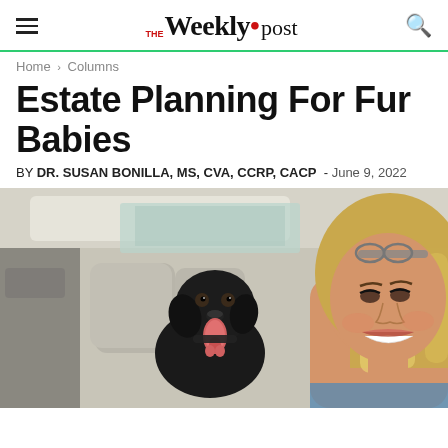THE Weekly•post
Home › Columns
Estate Planning For Fur Babies
BY DR. SUSAN BONILLA, MS, CVA, CCRP, CACP – June 9, 2022
[Figure (photo): A woman with blonde hair and glasses on her head smiles at the camera in a selfie taken inside a car. Beside her in the back seat is a black Labrador dog with its tongue out.]